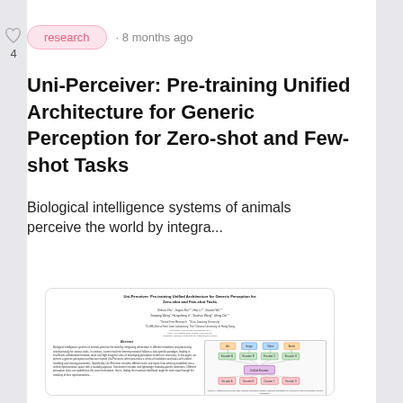[Figure (other): Heart/like icon with count 4]
research · 8 months ago
Uni-Perceiver: Pre-training Unified Architecture for Generic Perception for Zero-shot and Few-shot Tasks
Biological intelligence systems of animals perceive the world by integra...
[Figure (screenshot): Thumbnail of the research paper showing title, authors, affiliations, abstract, and a figure diagram]